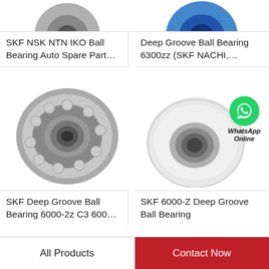[Figure (photo): Top-left partial product image (ball bearing auto spare part, cropped)]
SKF NSK NTN IKO Ball Bearing Auto Spare Part…
[Figure (photo): Top-right partial product image (deep groove ball bearing 6300zz, cropped)]
Deep Groove Ball Bearing 6300zz (SKF NACHI,…
[Figure (photo): SKF self-aligning ball bearing, metallic, shown on white background]
SKF Deep Groove Ball Bearing 6000-2z C3 600…
[Figure (photo): Plastic/nylon pulley wheel with deep groove ball bearing inset and WhatsApp Online badge overlay]
SKF 6000-Z Deep Groove Ball Bearing
All Products
Contact Now